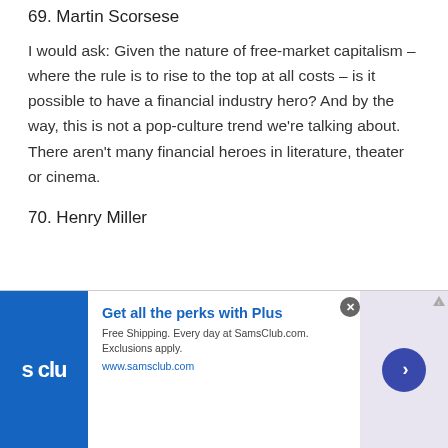69. Martin Scorsese
I would ask: Given the nature of free-market capitalism – where the rule is to rise to the top at all costs – is it possible to have a financial industry hero? And by the way, this is not a pop-culture trend we're talking about. There aren't many financial heroes in literature, theater or cinema.
70. Henry Miller
[Figure (infographic): Sam's Club advertisement banner. Blue logo on left reading 's clu'. Headline: Get all the perks with Plus. Subtext: Free Shipping. Every day at SamsClub.com. Exclusions apply. URL: www.samsclub.com. Right side has purple/lavender background with dark blue circular arrow button.]